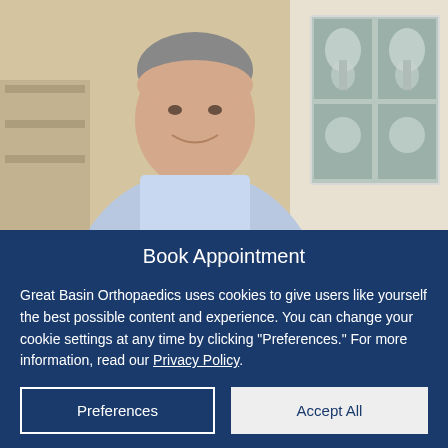[Figure (photo): A smiling male doctor or physician in a light blue collared shirt, seated in a medical office. Behind him to the right are X-ray images displayed on a light board showing knee/joint X-rays.]
Book Appointment
Patient Portal
Get Directions
Great Basin Orthopaedics uses cookies to give users like yourself the best possible content and experience. You can change your cookie settings at any time by clicking "Preferences." For more information, read our Privacy Policy.
Preferences
Accept All